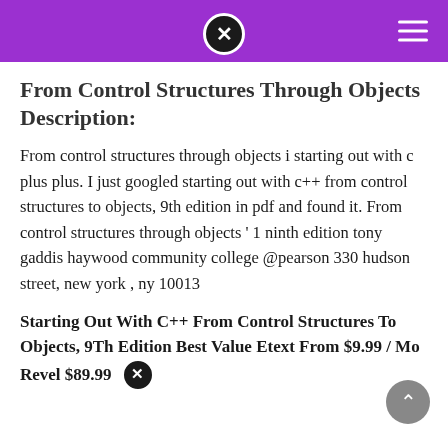From Control Structures Through Objects Description:
From control structures through objects i starting out with c plus plus. I just googled starting out with c++ from control structures to objects, 9th edition in pdf and found it. From control structures through objects ' 1 ninth edition tony gaddis haywood community college @pearson 330 hudson street, new york , ny 10013
Starting Out With C++ From Control Structures To Objects, 9Th Edition Best Value Etext From $9.99 / Mo Revel $89.99